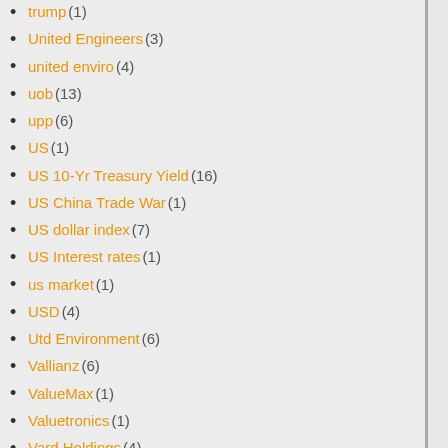trump (1)
United Engineers (3)
united enviro (4)
uob (13)
upp (6)
US (1)
US 10-Yr Treasury Yield (16)
US China Trade War (1)
US dollar index (7)
US Interest rates (1)
us market (1)
USD (4)
Utd Environment (6)
Vallianz (6)
ValueMax (1)
Valuetronics (1)
Vard Holdings (4)
venture (3)
vietnam (3)